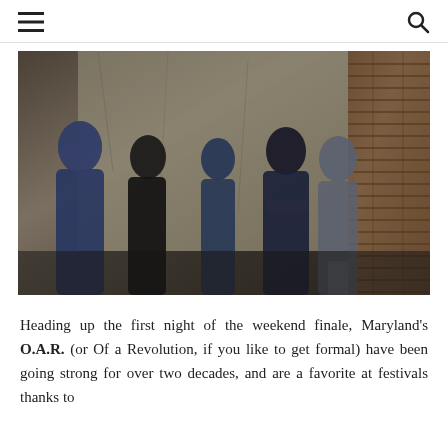≡  🔍
[Figure (photo): Band photo of five men standing in front of a weathered wall with brick on the right side. The men are dressed casually in dark clothing.]
Heading up the first night of the weekend finale, Maryland's O.A.R. (or Of a Revolution, if you like to get formal) have been going strong for over two decades, and are a favorite at festivals thanks to